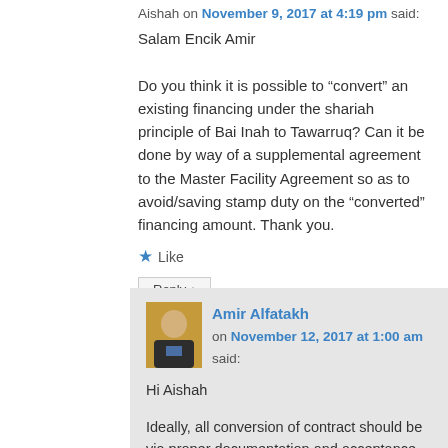Aishah on November 9, 2017 at 4:19 pm said:
Salam Encik Amir

Do you think it is possible to “convert” an existing financing under the shariah principle of Bai Inah to Tawarruq? Can it be done by way of a supplemental agreement to the Master Facility Agreement so as to avoid/saving stamp duty on the “converted” financing amount. Thank you.
★ Like
Reply ↓
Amir Alfatakh on November 12, 2017 at 1:00 am said:
Hi Aishah
Ideally, all conversion of contract should be via proper documentation and acceptance